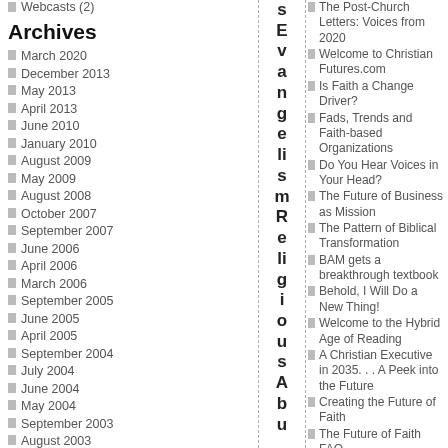Webcasts (2)
Archives
March 2020
December 2013
May 2013
April 2013
June 2010
January 2010
August 2009
May 2009
August 2008
October 2007
September 2007
June 2006
April 2006
March 2006
September 2005
June 2005
April 2005
September 2004
July 2004
June 2004
May 2004
September 2003
August 2003
sEvangeli smReligiousAbu
The Post-Church Letters: Voices from 2020
Welcome to Christian Futures.com
Is Faith a Change Driver?
Fads, Trends and Faith-based Organizations
Do You Hear Voices in Your Head?
The Future of Business as Mission
The Pattern of Biblical Transformation
BAM gets a breakthrough textbook
Behold, I Will Do a New Thing!
Welcome to the Hybrid Age of Reading
A Christian Executive in 2035. . . A Peek into the Future
Creating the Future of Faith
The Future of Faith FAQ
Don't Stop Thinking About Tomorrow
Faith 20/20 Formation Scenarios